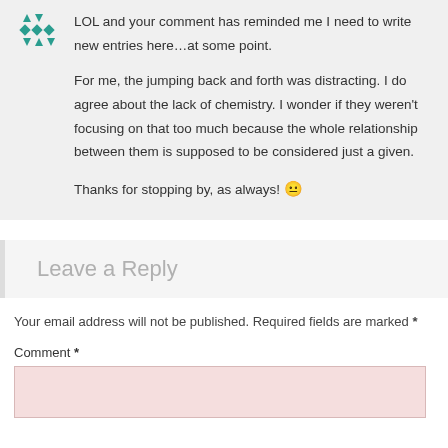LOL and your comment has reminded me I need to write new entries here…at some point.

For me, the jumping back and forth was distracting. I do agree about the lack of chemistry. I wonder if they weren't focusing on that too much because the whole relationship between them is supposed to be considered just a given.

Thanks for stopping by, as always! 🙂
Leave a Reply
Your email address will not be published. Required fields are marked *
Comment *